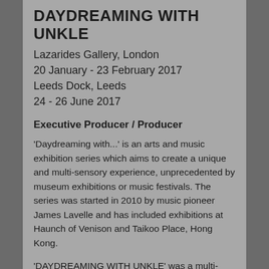DAYDREAMING WITH UNKLE
Lazarides Gallery, London
20 January - 23 February 2017
Leeds Dock, Leeds
24 - 26 June 2017
Executive Producer / Producer
'Daydreaming with...' is an arts and music exhibition series which aims to create a unique and multi-sensory experience, unprecedented by museum exhibitions or music festivals. The series was started in 2010 by music pioneer James Lavelle and has included exhibitions at Haunch of Venison and Taikoo Place, Hong Kong.
'DAYDREAMING WITH UNKLE' was a multi-displinary exhibition inspired by the music and visuals of the band UNKLE. The exhibition moved from Lazarides Gallery in London to Leeds Dock in